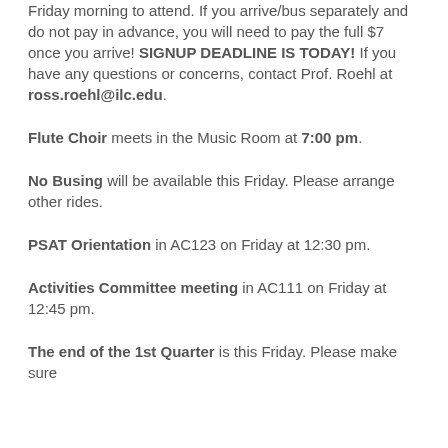Friday morning to attend. If you arrive/bus separately and do not pay in advance, you will need to pay the full $7 once you arrive! SIGNUP DEADLINE IS TODAY! If you have any questions or concerns, contact Prof. Roehl at ross.roehl@ilc.edu.
Flute Choir meets in the Music Room at 7:00 pm.
No Busing will be available this Friday. Please arrange other rides.
PSAT Orientation in AC123 on Friday at 12:30 pm.
Activities Committee meeting in AC111 on Friday at 12:45 pm.
The end of the 1st Quarter is this Friday. Please make sure